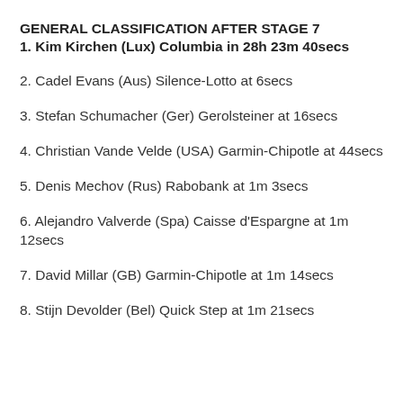GENERAL CLASSIFICATION AFTER STAGE 7
1. Kim Kirchen (Lux) Columbia in 28h 23m 40secs
2. Cadel Evans (Aus) Silence-Lotto at 6secs
3. Stefan Schumacher (Ger) Gerolsteiner at 16secs
4. Christian Vande Velde (USA) Garmin-Chipotle at 44secs
5. Denis Mechov (Rus) Rabobank at 1m 3secs
6. Alejandro Valverde (Spa) Caisse d'Espargne at 1m 12secs
7. David Millar (GB) Garmin-Chipotle at 1m 14secs
8. Stijn Devolder (Bel) Quick Step at 1m 21secs